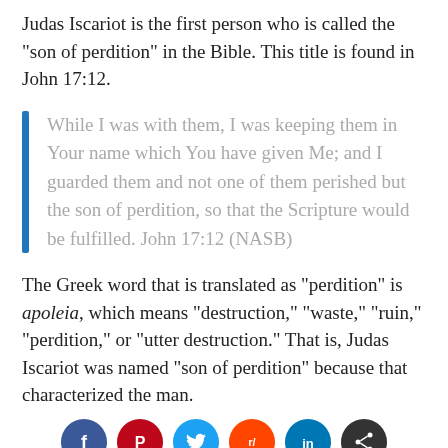Judas Iscariot is the first person who is called the “son of perdition” in the Bible. This title is found in John 17:12.
While I was with them, I was keeping them in Your name which You have given Me; and I guarded them and not one of them perished but the son of perdition, so that the Scripture would be fulfilled. John 17:12 (NASB)
The Greek word that is translated as “perdition” is apoleia, which means “destruction,” “waste,” “ruin,” “perdition,” or “utter destruction.” That is, Judas Iscariot was named “son of perdition” because that characterized the man.
[Figure (other): Social media sharing icons: Facebook, Pinterest, Twitter, Reddit, LinkedIn, Share]